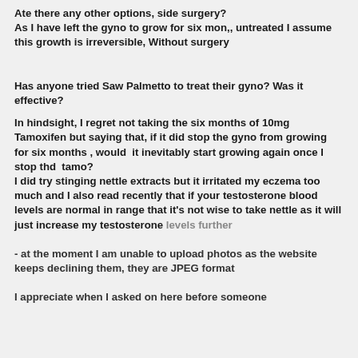Ate there any other options, side surgery? As I have left the gyno to grow for six mon,, untreated I assume this growth is irreversible, Without surgery
Has anyone tried Saw Palmetto to treat their gyno? Was it effective?
In hindsight, I regret not taking the six months of 10mg Tamoxifen but saying that, if it did stop the gyno from growing for six months , would  it inevitably start growing again once I stop thd  tamo?
I did try stinging nettle extracts but it irritated my eczema too much and I also read recently that if your testosterone blood levels are normal in range that it's not wise to take nettle as it will just increase my testosterone levels further
- at the moment I am unable to upload photos as the website keeps declining them, they are JPEG format
I appreciate when I asked on here before someone